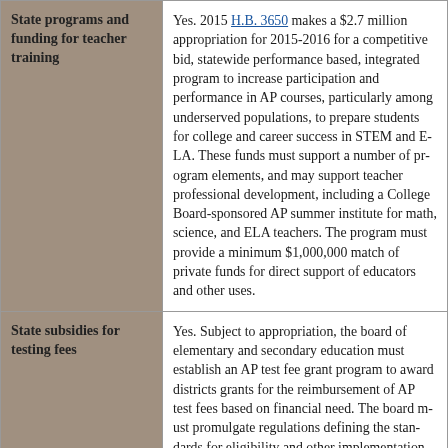| Category | Detail |
| --- | --- |
| State programs and funding for teacher training | Yes. 2015 H.B. 3650 makes a $2.7 million appropriation for 2015-2016 for a competitive bid, statewide performance based, integrated program to increase participation and performance in AP courses, particularly among underserved populations, to prepare students for college and career success in STEM and ELA. These funds must support a number of program elements, and may support teacher professional development, including a College Board-sponsored AP summer institute for math, science, and ELA teachers. The program must provide a minimum $1,000,000 match of private funds for direct support of educators and other uses. |
| State subsidies for testing fees | Yes. Subject to appropriation, the board of elementary and secondary education must establish an AP test fee grant program to award districts grants for the reimbursement of AP test fees based on financial need. The board must promulgate regulations defining the standards for eligibility and other implementation guidelines for this program.

2015 H.B. 3650 makes a $2.7 million app |